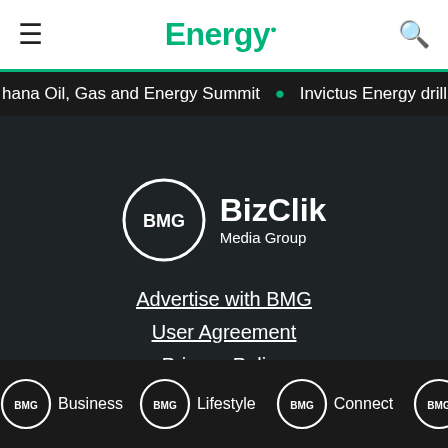Energy.
hana Oil, Gas and Energy Summit • Invictus Energy dril
[Figure (logo): BizClik Media Group logo — BMG circle logo with BizClik Media Group wordmark in white on dark background]
Advertise with BMG
User Agreement
Privacy Policy
BMG Business  BMG Lifestyle  BMG Connect  BMG Intelligence